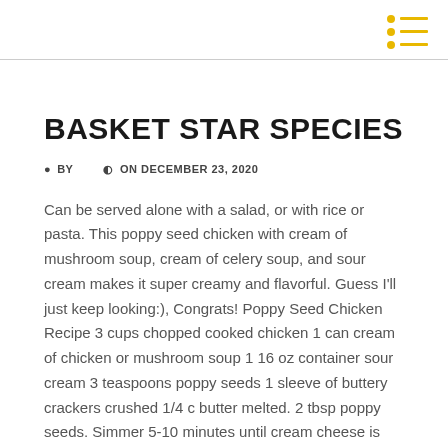BASKET STAR SPECIES
BY   ON DECEMBER 23, 2020
Can be served alone with a salad, or with rice or pasta. This poppy seed chicken with cream of mushroom soup, cream of celery soup, and sour cream makes it super creamy and flavorful. Guess I'll just keep looking:), Congrats! Poppy Seed Chicken Recipe 3 cups chopped cooked chicken 1 can cream of chicken or mushroom soup 1 16 oz container sour cream 3 teaspoons poppy seeds 1 sleeve of buttery crackers crushed 1/4 c butter melted. 2 tbsp poppy seeds. Simmer 5-10 minutes until cream cheese is melted (stir to combine). Mix the chicken together with the cream soup and sour